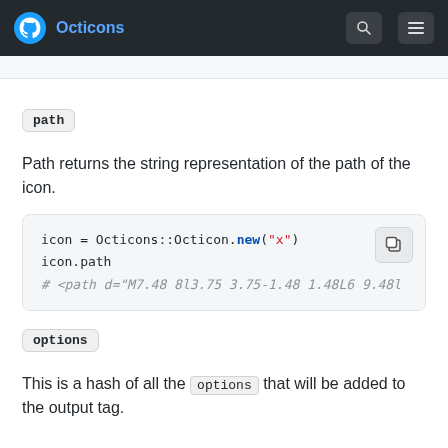Octicons
path
Path returns the string representation of the path of the icon.
[Figure (screenshot): Code block showing: icon = Octicons::Octicon.new("x")  icon.path  # <path d="M7.48 8l3.75 3.75-1.48 1.48L6 9.48l]
options
This is a hash of all the options that will be added to the output tag.